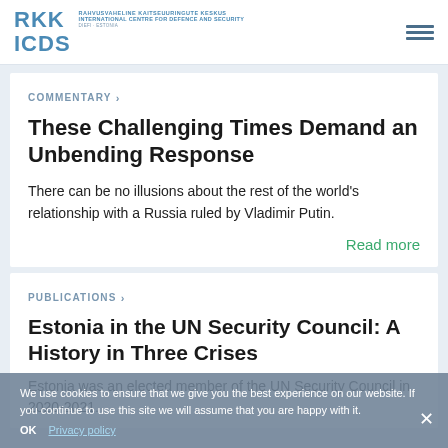RKK ICDS — RAHVUSVAHELINE KAITSEUURINGUTE KESKUS INTERNATIONAL CENTRE FOR DEFENCE AND SECURITY DIEFI · ESTONIA
COMMENTARY >
These Challenging Times Demand an Unbending Response
There can be no illusions about the rest of the world's relationship with a Russia ruled by Vladimir Putin.
Read more
PUBLICATIONS >
Estonia in the UN Security Council: A History in Three Crises
Estonia was an elected member of the UN Security Council in 2020-2021.
We use cookies to ensure that we give you the best experience on our website. If you continue to use this site we will assume that you are happy with it.
OK   Privacy policy